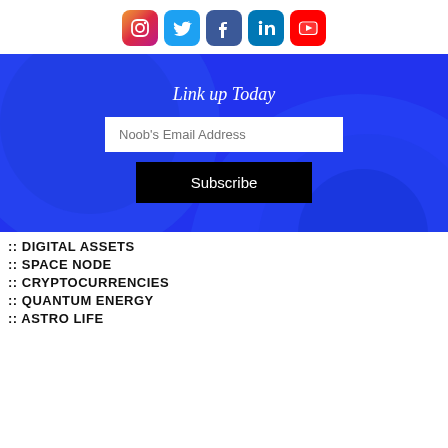[Figure (infographic): Social media icons row: Instagram, Twitter, Facebook, LinkedIn, YouTube]
[Figure (infographic): Blue banner with concentric circle background, 'Link up Today' heading, email input field, and Subscribe button]
:: DIGITAL ASSETS
:: SPACE NODE
:: CRYPTOCURRENCIES
:: QUANTUM ENERGY
:: ASTRO LIFE